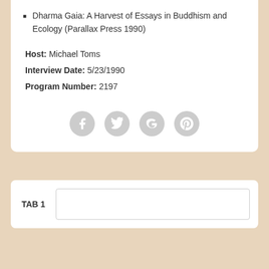Dharma Gaia: A Harvest of Essays in Buddhism and Ecology (Parallax Press 1990)
Host: Michael Toms
Interview Date: 5/23/1990
Program Number: 2197
[Figure (other): Four social media icons (Facebook, Twitter, Google+, Pinterest) displayed as gray circles with white symbols]
TAB 1